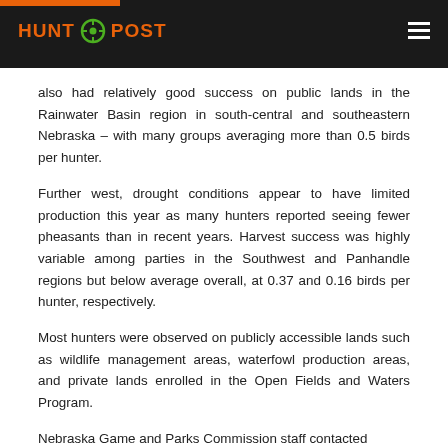HUNT POST
also had relatively good success on public lands in the Rainwater Basin region in south-central and southeastern Nebraska – with many groups averaging more than 0.5 birds per hunter.
Further west, drought conditions appear to have limited production this year as many hunters reported seeing fewer pheasants than in recent years. Harvest success was highly variable among parties in the Southwest and Panhandle regions but below average overall, at 0.37 and 0.16 birds per hunter, respectively.
Most hunters were observed on publicly accessible lands such as wildlife management areas, waterfowl production areas, and private lands enrolled in the Open Fields and Waters Program.
Nebraska Game and Parks Commission staff contacted